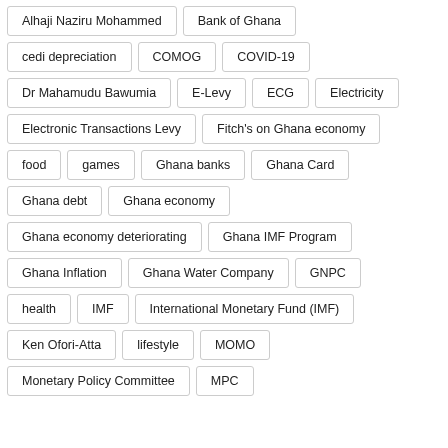Alhaji Naziru Mohammed
Bank of Ghana
cedi depreciation
COMOG
COVID-19
Dr Mahamudu Bawumia
E-Levy
ECG
Electricity
Electronic Transactions Levy
Fitch's on Ghana economy
food
games
Ghana banks
Ghana Card
Ghana debt
Ghana economy
Ghana economy deteriorating
Ghana IMF Program
Ghana Inflation
Ghana Water Company
GNPC
health
IMF
International Monetary Fund (IMF)
Ken Ofori-Atta
lifestyle
MOMO
Monetary Policy Committee
MPC